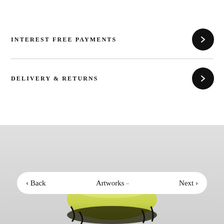INTEREST FREE PAYMENTS
DELIVERY & RETURNS
[Figure (screenshot): Bottom section showing a light grey background with an artwork (ceramic bowl with yellow/black coloring) partially visible at the bottom, and a navigation bar with Back, Artworks .., and Next options.]